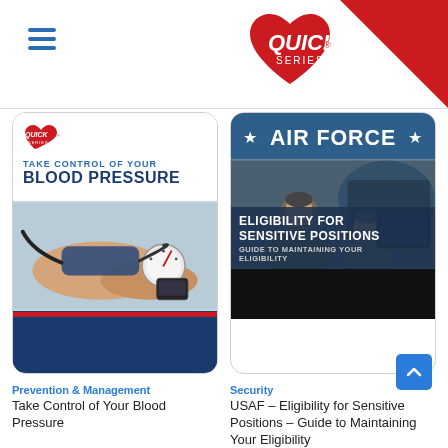[Figure (logo): Quick Series logo with heart shape and red/white text in top right header area]
[Figure (illustration): Book cover: Take Control of Your Blood Pressure – Quick Series branded guide with blood pressure cuff photo]
[Figure (illustration): Book cover: Air Force – Eligibility for Sensitive Positions – Guide to Maintaining Your Eligibility, with Air Force personnel photo]
Prevention & Management
Take Control of Your Blood Pressure
Security
USAF – Eligibility for Sensitive Positions – Guide to Maintaining Your Eligibility